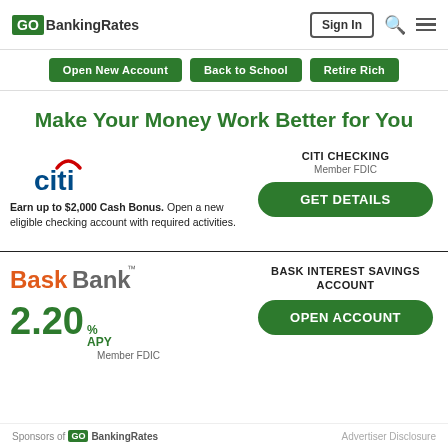GOBankingRates | Sign In
Open New Account | Back to School | Retire Rich
Make Your Money Work Better for You
[Figure (logo): Citi bank logo with red arc above letters]
CITI CHECKING Member FDIC
Earn up to $2,000 Cash Bonus. Open a new eligible checking account with required activities.
GET DETAILS
[Figure (logo): Bask Bank logo in orange and gray]
2.20 % APY
Member FDIC
BASK INTEREST SAVINGS ACCOUNT
OPEN ACCOUNT
Sponsors of GOBankingRates | Advertiser Disclosure